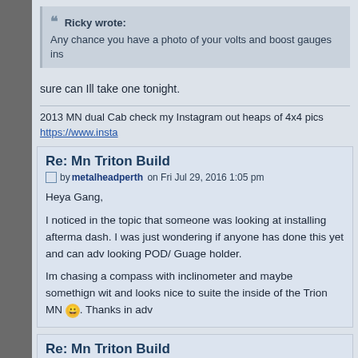Ricky wrote: Any chance you have a photo of your volts and boost gauges ins
sure can Ill take one tonight.
2013 MN dual Cab check my Instagram out heaps of 4x4 pics https://www.insta
Re: Mn Triton Build
by metalheadperth on Fri Jul 29, 2016 1:05 pm
Heya Gang,

I noticed in the topic that someone was looking at installing afterma dash. I was just wondering if anyone has done this yet and can adv looking POD/ Guage holder.

Im chasing a compass with inclinometer and maybe somethign wit and looks nice to suite the inside of the Trion MN 😀. Thanks in adv
Re: Mn Triton Build
by 1manwolfpack on Fri Jul 29, 2016 9:08 pm